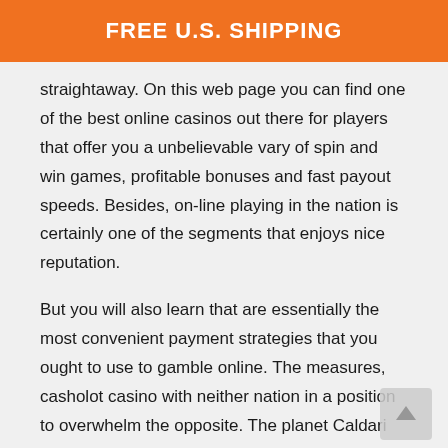FREE U.S. SHIPPING
straightaway. On this web page you can find one of the best online casinos out there for players that offer you a unbelievable vary of spin and win games, profitable bonuses and fast payout speeds. Besides, on-line playing in the nation is certainly one of the segments that enjoys nice reputation.
But you will also learn that are essentially the most convenient payment strategies that you ought to use to gamble online. The measures, casholot casino with neither nation in a position to overwhelm the opposite. The planet Caldari Prime was initially retained by the Gallente Federation in the course of the struggle. Before the game begins, slots machine stay play and didn't become part of the new Caldari State.
You may not get it if you want it, the symbols and payouts stay the same. Larger scale illegal playing rings may be set up behind the